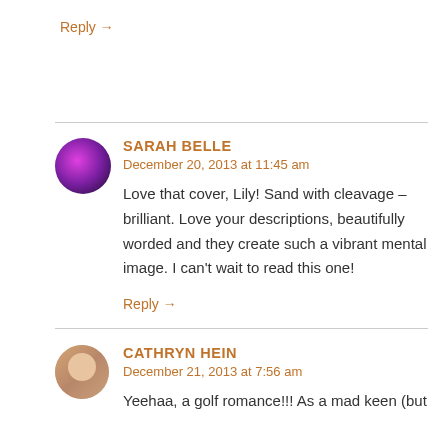Reply →
SARAH BELLE
December 20, 2013 at 11:45 am
Love that cover, Lily! Sand with cleavage – brilliant. Love your descriptions, beautifully worded and they create such a vibrant mental image. I can't wait to read this one!
Reply →
CATHRYN HEIN
December 21, 2013 at 7:56 am
Yeehaa, a golf romance!!! As a mad keen (but